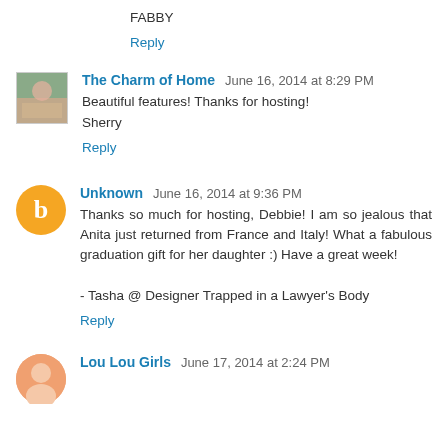FABBY
Reply
The Charm of Home  June 16, 2014 at 8:29 PM
Beautiful features! Thanks for hosting!
Sherry
Reply
Unknown  June 16, 2014 at 9:36 PM
Thanks so much for hosting, Debbie! I am so jealous that Anita just returned from France and Italy! What a fabulous graduation gift for her daughter :) Have a great week!

- Tasha @ Designer Trapped in a Lawyer's Body
Reply
Lou Lou Girls  June 17, 2014 at 2:24 PM